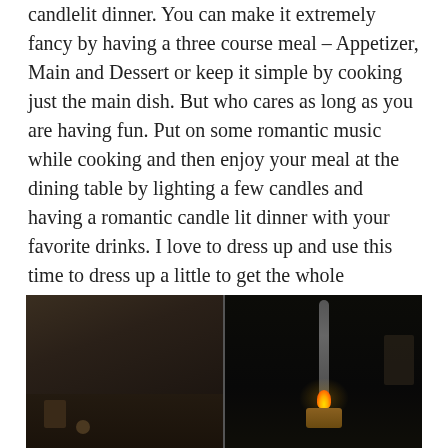candlelit dinner. You can make it extremely fancy by having a three course meal – Appetizer, Main and Dessert or keep it simple by cooking just the main dish. But who cares as long as you are having fun. Put on some romantic music while cooking and then enjoy your meal at the dining table by lighting a few candles and having a romantic candle lit dinner with your favorite drinks. I love to dress up and use this time to dress up a little to get the whole experience but it is completely up to you.
[Figure (photo): Two-panel dark photo: left panel shows a dim dining table scene; right panel shows a candle in a glass holder glowing in near-darkness.]